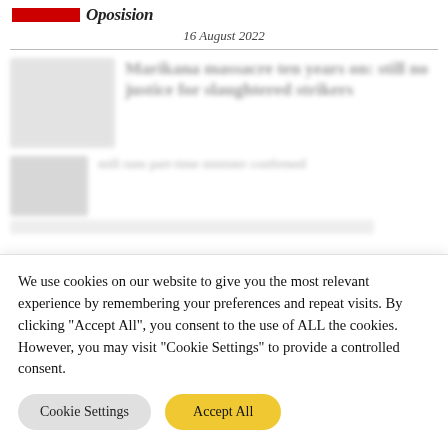16 August 2022
[Figure (screenshot): Blurred news article with headline 'Marikana massacre ten years on: still no justice for slaughtered strikers' and a secondary blurred article below it]
We use cookies on our website to give you the most relevant experience by remembering your preferences and repeat visits. By clicking "Accept All", you consent to the use of ALL the cookies. However, you may visit "Cookie Settings" to provide a controlled consent.
Cookie Settings   Accept All